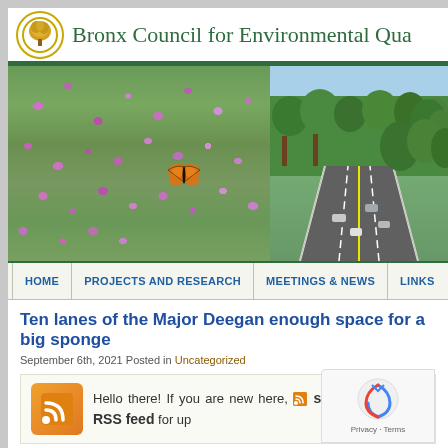Bronx Council for Environmental Qua[lity]
[Figure (photo): Two photos side by side: left shows purple wildflowers with an orange monarch butterfly; right shows an aerial view of a highway with trees on both sides (Major Deegan Expressway)]
HOME | PROJECTS AND RESEARCH | MEETINGS & NEWS | LINKS
Ten lanes of the Major Deegan enough space for a big sponge
September 6th, 2021 Posted in Uncategorized
Hello there! If you are new here, subscribe to the RSS feed for up[dates]